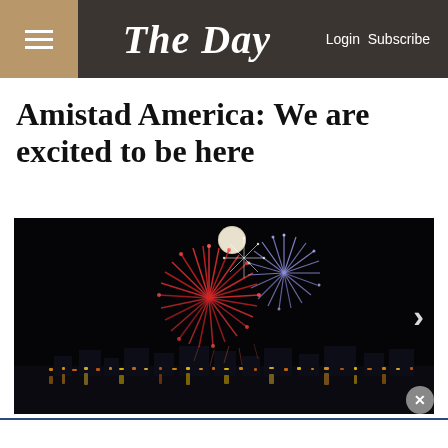The Day — Login Subscribe
Amistad America: We are excited to be here
[Figure (photo): Fireworks bursting over a waterfront city at night, with a full moon visible above the fireworks display. City lights reflect off the water below.]